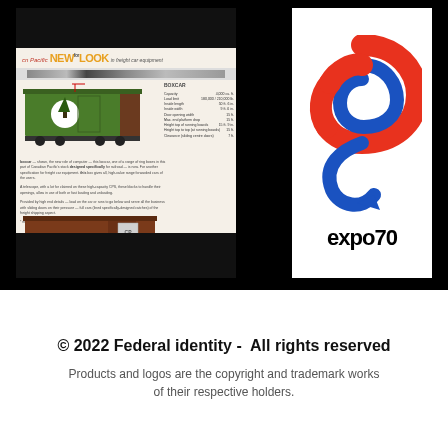[Figure (photo): Scanned document page showing 'NEW LOOK for freight car equipment' brochure with green and brown Canadian Pacific boxcar illustrations and specifications]
[Figure (logo): Expo 70 logo featuring a stylized red and blue ribbon/figure-8 shape forming a 'Q' with arrow, with 'expo70' text below in black]
© 2022 Federal identity -  All rights reserved
Products and logos are the copyright and trademark works of their respective holders.